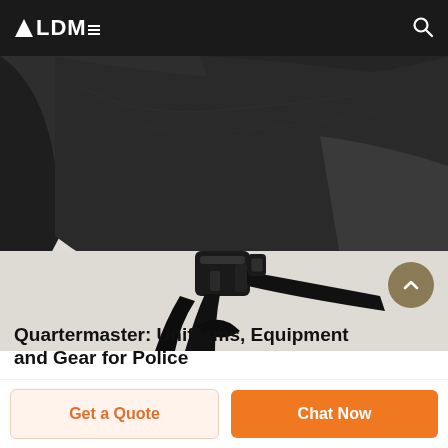ALDME
[Figure (photo): Close-up photo of a tactical/military helmet with black fabric cover, showing the chin strap buckle and adjustment straps from below]
Quartermaster: Uniforms, Equipment and Gear for Police
Get a Quote
Chat Now